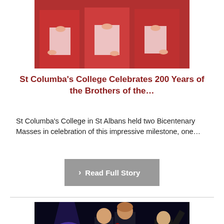[Figure (photo): Students in red choir robes holding books/programs, reading]
St Columba's College Celebrates 200 Years of the Brothers of the…
St Columba's College in St Albans held two Bicentenary Masses in celebration of this impressive milestone, one…
> Read Full Story
[Figure (photo): Students on a dark stage under bright stage lighting, one holding a book, performing]